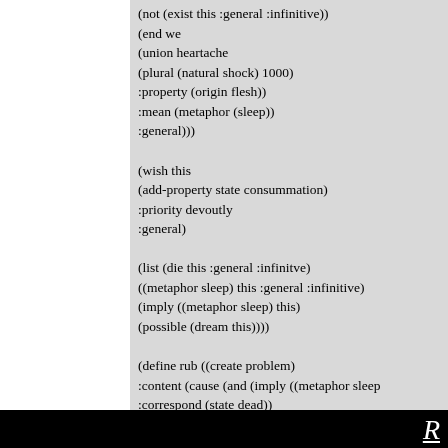(not (exist this :general :infinitive))
(end we
(union heartache
(plural (natural shock) 1000)
:property (origin flesh))
:mean (metaphor (sleep))
:general)))

(wish this
(add-property state consummation)
:priority devoutly
:general)

(list (die this :general :infinitve)
((metaphor sleep) this :general :infinitive)
(imply ((metaphor sleep) this)
(possible (dream this))))

(define rub ((create problem)
:content (cause (and (imply ((metaphor sleep
:correspond (state dead))
this)
(possible (dream this)))
(property (plural (dream this)) unknown))
(hesitation this :general)))))
R